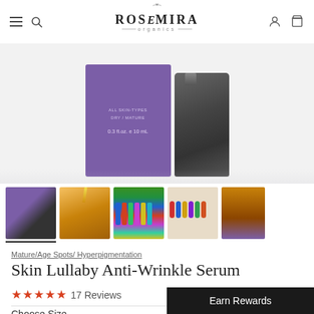Rosemira Organics — Navigation header with hamburger menu, search, logo, account and cart icons
[Figure (photo): Product photo showing Rosemira Organics Skin Lullaby Anti-Wrinkle Serum purple box (0.3 fl.oz / 10 mL, All Skin-Types, Dry/Mature) next to a dark glass bottle on a white background]
[Figure (photo): Thumbnail 1: Purple product box with dark bottle]
[Figure (photo): Thumbnail 2: Amber/orange dropper bottle with gold dropper]
[Figure (photo): Thumbnail 3: Row of colorful essential oil bottles on a surface]
[Figure (photo): Thumbnail 4: Row of colorful roller bottles]
[Figure (photo): Thumbnail 5: Small amber spray bottle with purple label]
Mature/Age Spots/ Hyperpigmentation
Skin Lullaby Anti-Wrinkle Serum
★★★★★ 17 Reviews
Choose Size
Earn Rewards